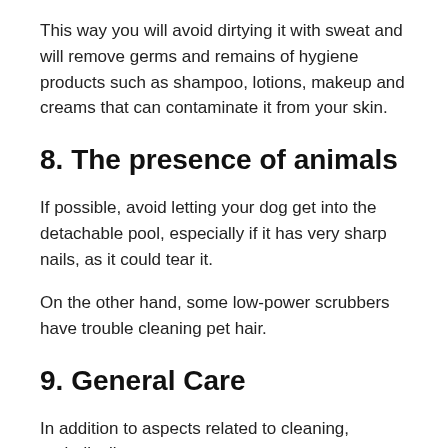This way you will avoid dirtying it with sweat and will remove germs and remains of hygiene products such as shampoo, lotions, makeup and creams that can contaminate it from your skin.
8. The presence of animals
If possible, avoid letting your dog get into the detachable pool, especially if it has very sharp nails, as it could tear it.
On the other hand, some low-power scrubbers have trouble cleaning pet hair.
9. General Care
In addition to aspects related to cleaning, periodically